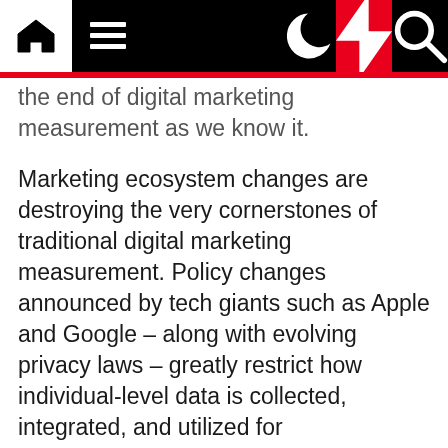[Navigation bar with home, menu, dark mode, bolt, and search icons]
the end of digital marketing measurement as we know it.
Marketing ecosystem changes are destroying the very cornerstones of traditional digital marketing measurement. Policy changes announced by tech giants such as Apple and Google – along with evolving privacy laws – greatly restrict how individual-level data is collected, integrated, and utilized for measurement. This means we immediately need to say goodbye to view-through based KPIs, multi-touch attribution, and our ambition for deduplicated reach and frequency across partners.
Browser changes mean it will no longer be possible to use an ad server or pixel-based measurement to partner to track a consumer across the internet.